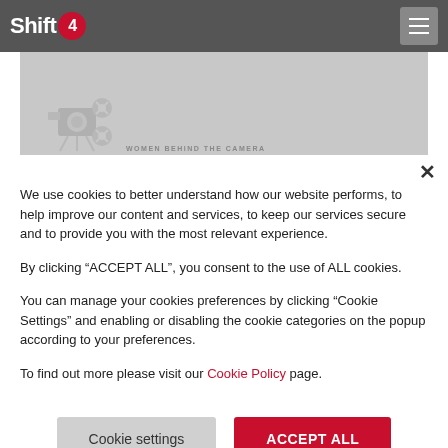Shift4
[Figure (illustration): Gray hero banner with a faint camera/cinematography icon and the text 'WOMEN BEHIND THE CAMERA' in small caps]
We use cookies to better understand how our website performs, to help improve our content and services, to keep our services secure and to provide you with the most relevant experience.
By clicking “ACCEPT ALL”, you consent to the use of ALL cookies.
You can manage your cookies preferences by clicking "Cookie Settings" and enabling or disabling the cookie categories on the popup according to your preferences.
To find out more please visit our Cookie Policy page.
Cookie settings | ACCEPT ALL